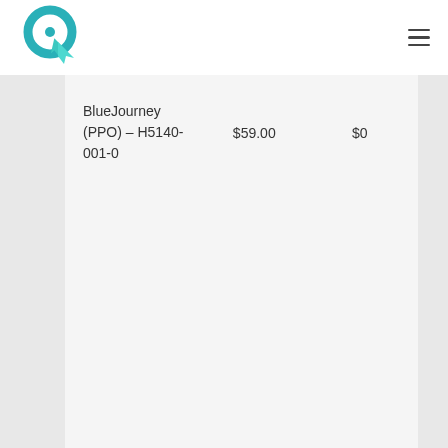BlueJourney logo and navigation menu
| BlueJourney (PPO) – H5140-001-0 | $59.00 | $0 |